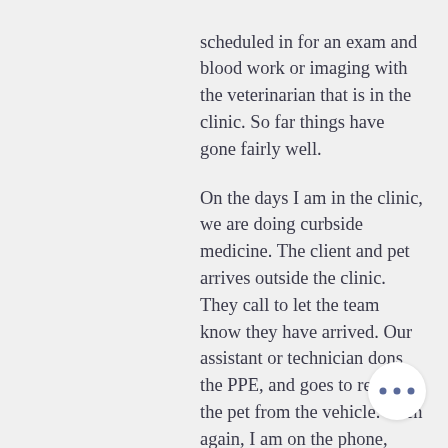scheduled in for an exam and blood work or imaging with the veterinarian that is in the clinic. So far things have gone fairly well.

On the days I am in the clinic, we are doing curbside medicine. The client and pet arrives outside the clinic. They call to let the team know they have arrived. Our assistant or technician dons the PPE, and goes to retrieve the pet from the vehicle. Then again, I am on the phone, thanking the owner for their patience during these restrictions and getting a thorough history. After the history, I then go to perform my physical examination, have any diagnostics performed where necessary, and if the physical